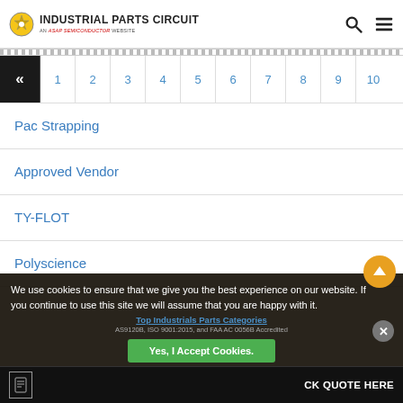INDUSTRIAL PARTS CIRCUIT - An ASAP Semiconductor Website
«  1  2  3  4  5  6  7  8  9  10 (pagination)
Pac Strapping
Approved Vendor
TY-FLOT
Polyscience
We use cookies to ensure that we give you the best experience on our website. If you continue to use this site we will assume that you are happy with it.
Top Industrials Parts Categories
AS9120B, ISO 9001:2015, and FAA AC 0056B Accredited
Yes, I Accept Cookies.
CK QUOTE HERE